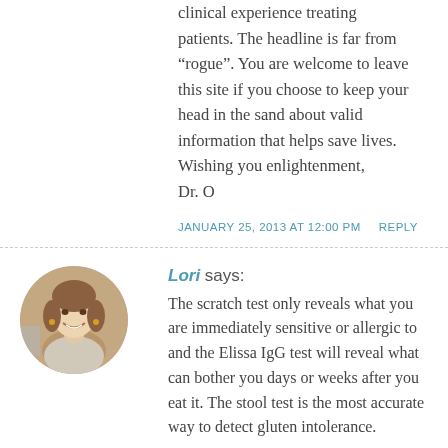clinical experience treating patients. The headline is far from “rogue”. You are welcome to leave this site if you choose to keep your head in the sand about valid information that helps save lives. Wishing you enlightenment, Dr. O
JANUARY 25, 2013 AT 12:00 PM
REPLY
[Figure (photo): Circular avatar photo of Lori, a woman smiling, with brown hair]
Lori says:
The scratch test only reveals what you are immediately sensitive or allergic to and the Elissa IgG test will reveal what can bother you days or weeks after you eat it. The stool test is the most accurate way to detect gluten intolerance.